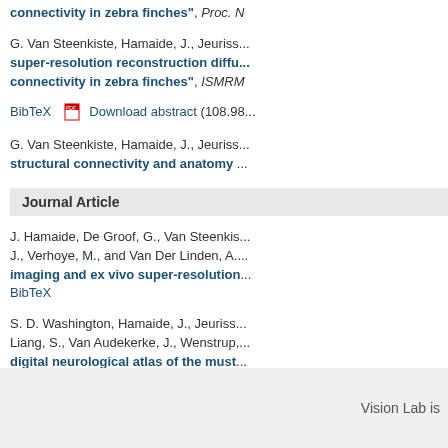connectivity in zebra finches", Proc. N...
G. Van Steenkiste, Hamaide, J., Jeuriss... "super-resolution reconstruction diffu... connectivity in zebra finches", ISMRM...
BibTeX  Download abstract (108.98...
G. Van Steenkiste, Hamaide, J., Jeuriss... "structural connectivity and anatomy...
Journal Article
J. Hamaide, De Groof, G., Van Steenkis... J., Verhoye, M., and Van Der Linden, A... "imaging and ex vivo super-resolution... BibTeX
S. D. Washington, Hamaide, J., Jeuriss... Liang, S., Van Audekerke, J., Wenstrup,... "digital neurological atlas of the must... Scholar  BibTeX
Vision Lab is